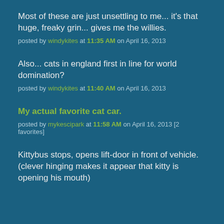Most of these are just unsettling to me... it's that huge, freaky grin... gives me the willies.
posted by windykites at 11:35 AM on April 16, 2013
Also... cats in england first in line for world domination?
posted by windykites at 11:40 AM on April 16, 2013
My actual favorite cat car.
posted by mykescipark at 11:58 AM on April 16, 2013 [2 favorites]
Kittybus stops, opens lift-door in front of vehicle. (clever hinging makes it appear that kitty is opening his mouth)